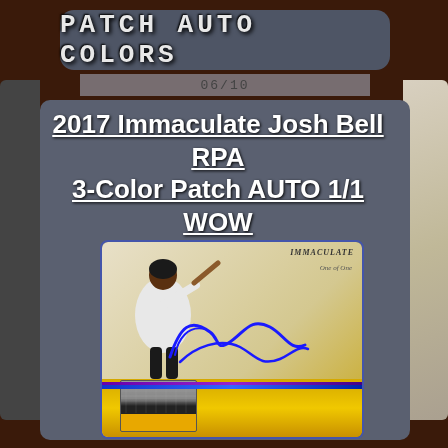PATCH AUTO COLORS
06/10
2017 Immaculate Josh Bell RPA 3-Color Patch AUTO 1/1 WOW Pirates HOT
[Figure (photo): Sports trading card - 2017 Immaculate Collection Josh Bell Rookie Patch Auto (RPA), 3-Color Patch, numbered 1/1 (One of One), showing player batting stance silhouette, blue ink signature, and multi-color jersey patch swatch in gold foil card design]